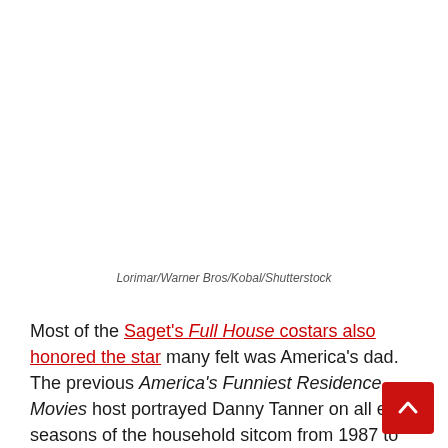Lorimar/Warner Bros/Kobal/Shutterstock
Most of the Saget’s Full House costars also honored the star many felt was America’s dad. The previous America’s Funniest Residence Movies host portrayed Danny Tanner on all eight seasons of the household sitcom from 1987 to 1995, and reprised the position within the Netflix revival, Fuller House, which streamed from 2016 to 2020.
“I’m damaged. I’m gutted. I’m in full and utter